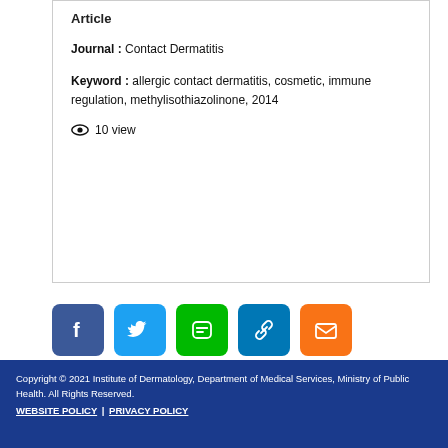Article
Journal : Contact Dermatitis
Keyword : allergic contact dermatitis, cosmetic, immune regulation, methylisothiazolinone, 2014
10 view
[Figure (other): Social sharing buttons: Facebook, Twitter, LINE, Link, Email]
Copyright © 2021 Institute of Dermatology, Department of Medical Services, Ministry of Public Health. All Rights Reserved. WEBSITE POLICY | PRIVACY POLICY